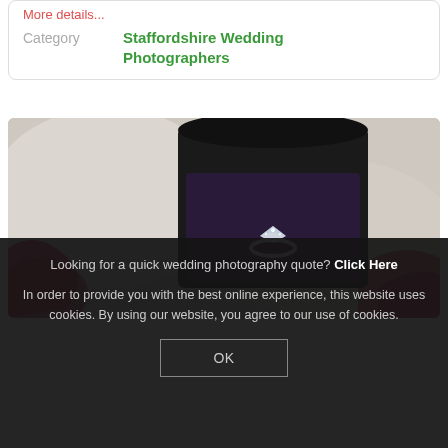More details...
| Category | Staffordshire Wedding Photographers |
| --- | --- |
[Figure (photo): Close-up photo of a diamond ring in a black jewelry box with a pink/red ribbon on a light background]
Looking for a quick wedding photography quote? Click Here
In order to provide you with the best online experience, this website uses cookies. By using our website, you agree to our use of cookies.
OK